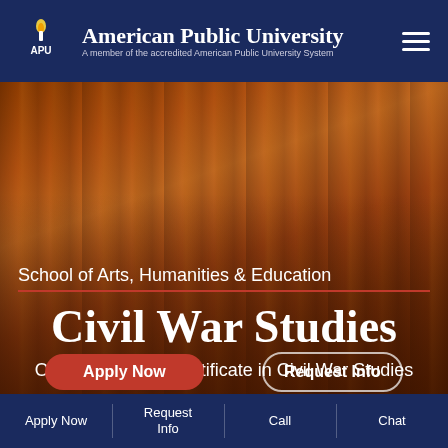American Public University — A member of the accredited American Public University System
[Figure (screenshot): Hero background image of vertical wooden bamboo poles in warm orange-brown tones]
School of Arts, Humanities & Education
Civil War Studies
Online Graduate Certificate in Civil War Studies
Apply Now
Request Info
Apply Now | Request Info | Call | Chat